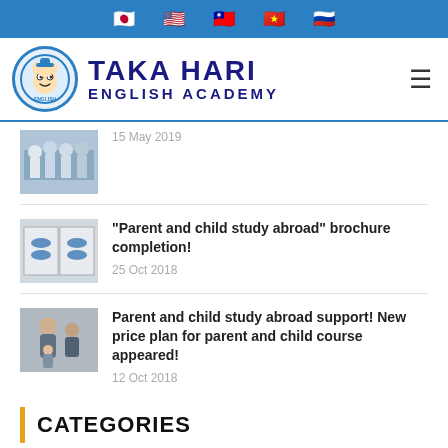Flag bar: Japan, USA, Taiwan, Vietnam, Russia flags
[Figure (logo): Taka Hari English Academy logo with circular mascot icon and text]
15 May 2019
“Parent and child study abroad” brochure completion!
25 Oct 2018
Parent and child study abroad support! New price plan for parent and child course appeared!
12 Oct 2018
CATEGORIES